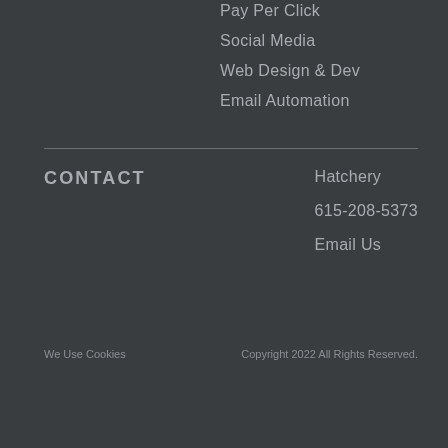Pay Per Click
Social Media
Web Design & Dev
Email Automation
CONTACT
Hatchery
615-208-5373
Email Us
We Use Cookies    Copyright 2022 All Rights Reserved.